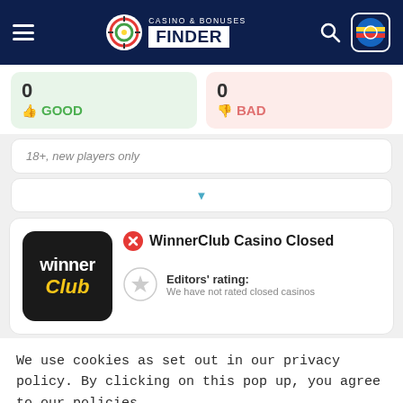Casino & Bonuses Finder
0 GOOD
0 BAD
18+, new players only
WinnerClub Casino Closed
Editors' rating: We have not rated closed casinos
We use cookies as set out in our privacy policy. By clicking on this pop up, you agree to our policies.
Read the privacy policy
It's OK For Me